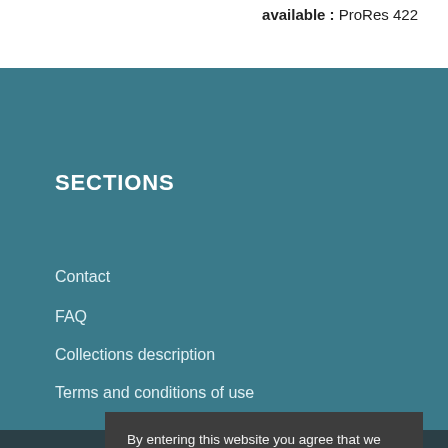available : ProRes 422
SECTIONS
Contact
FAQ
Collections description
Terms and conditions of use
QUICK LINKS
ICRC Archives
By entering this website you agree that we use cookies in order to understand visitor preferences and keep improving our service.
Learn more
I ACCEPT
ICRC BLO...